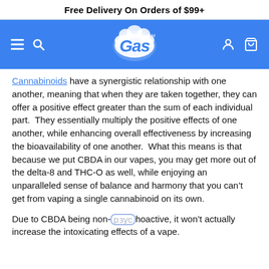Free Delivery On Orders of $99+
[Figure (logo): Gas brand logo in white on blue navigation bar with hamburger menu, search icon on left and user/cart icons on right]
Cannabinoids have a synergistic relationship with one another, meaning that when they are taken together, they can offer a positive effect greater than the sum of each individual part.  They essentially multiply the positive effects of one another, while enhancing overall effectiveness by increasing the bioavailability of one another.  What this means is that because we put CBDA in our vapes, you may get more out of the delta-8 and THC-O as well, while enjoying an unparalleled sense of balance and harmony that you can’t get from vaping a single cannabinoid on its own.
Due to CBDA being non-psychoactive, it won’t actually increase the intoxicating effects of a vape.